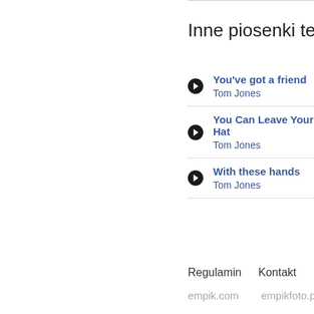Inne piosenki tego
You've got a friend
Tom Jones
You Can Leave Your Hat
Tom Jones
With these hands
Tom Jones
Regulamin   Kontakt   Reklama
empik.com   empikfoto.pl